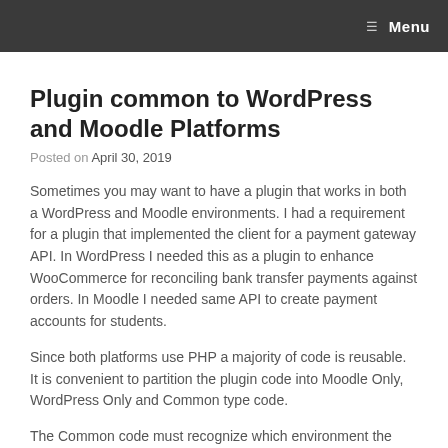Menu
Plugin common to WordPress and Moodle Platforms
Posted on April 30, 2019
Sometimes you may want to have a plugin that works in both a WordPress and Moodle environments. I had a requirement for a plugin that implemented the client for a payment gateway API. In WordPress I needed this as a plugin to enhance WooCommerce for reconciling bank transfer payments against orders. In Moodle I needed same API to create payment accounts for students.
Since both platforms use PHP a majority of code is reusable. It is convenient to partition the plugin code into Moodle Only, WordPress Only and Common type code.
The Common code must recognize which environment the calling program is and react accordingly. Moodle uses configuration settings in plugins to store information such as API key, secret